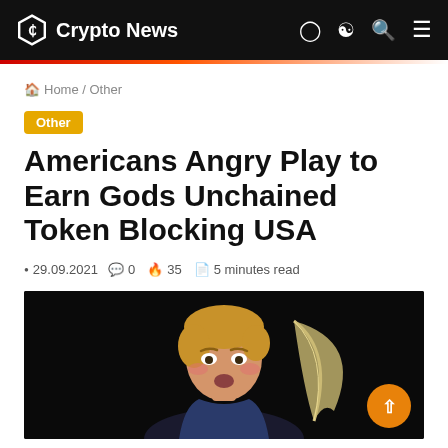Crypto News
Home / Other
Other
Americans Angry Play to Earn Gods Unchained Token Blocking USA
29.09.2021  0  35  5 minutes read
[Figure (illustration): Game character illustration from Gods Unchained — a young male character with blonde hair holding a feather quill, set against a dark background, with an orange circular button in the lower right.]